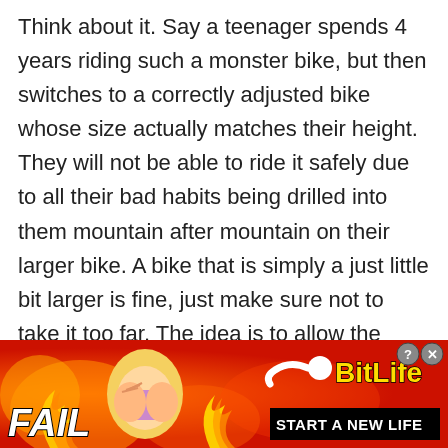Think about it. Say a teenager spends 4 years riding such a monster bike, but then switches to a correctly adjusted bike whose size actually matches their height. They will not be able to ride it safely due to all their bad habits being drilled into them mountain after mountain on their larger bike. A bike that is simply a just little bit larger is fine, just make sure not to take it too far. The idea is to allow the teenager to be able to ride on a mountain in the most safe and efficient manner as possible.
[Figure (illustration): Advertisement banner for BitLife mobile game. Red/orange fiery background with 'FAIL' text on the left, cartoon character with hands on face in the center, flames, and 'BitLife START A NEW LIFE' branding on the right with close/help buttons.]